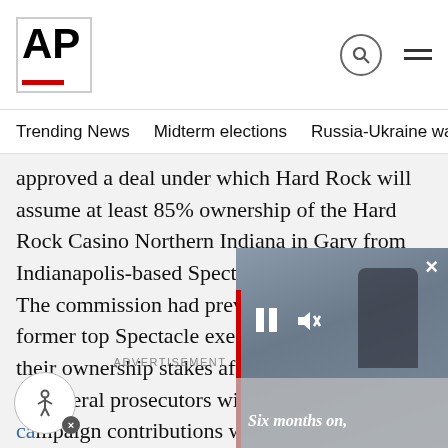AP
Trending News   Midterm elections   Russia-Ukraine war   Dona
approved a deal under which Hard Rock will assume at least 85% ownership of the Hard Rock Casino Northern Indiana in Gary from Indianapolis-based Spectacle Entertainment. The commission had previously forced two former top Spectacle executives to give up their ownership stakes after one was charged by federal prosecutors with making illegal ca[mpaign contributions] with casino company money.
ADVERTISEMENT
[Figure (screenshot): Video overlay showing a person in winter clothing against a concrete wall. Video controls visible with pause and mute icons. Red bar on left edge. Caption reads 'Six months on,' in italic text.]